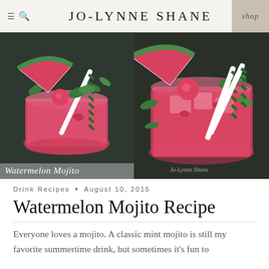JO-LYNNE SHANE
[Figure (photo): Two photos side by side of watermelon mojito drinks in glasses with green chevron straws, mint leaves, and watermelon garnish on a dark stone background. Left photo has script text overlay 'Watermelon Mojito'. Right photo has a photographer's signature watermark.]
Drink Recipes • August 10, 2015
Watermelon Mojito Recipe
Everyone loves a mojito. A classic mint mojito is still my favorite summertime drink, but sometimes it's fun to